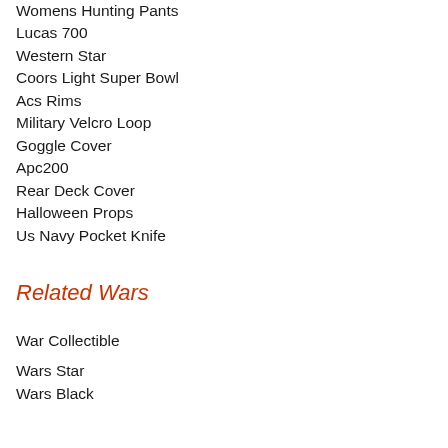Womens Hunting Pants
Lucas 700
Western Star
Coors Light Super Bowl
Acs Rims
Military Velcro Loop
Goggle Cover
Apc200
Rear Deck Cover
Halloween Props
Us Navy Pocket Knife
Related Wars
War Collectible
Wars Star
Wars Black